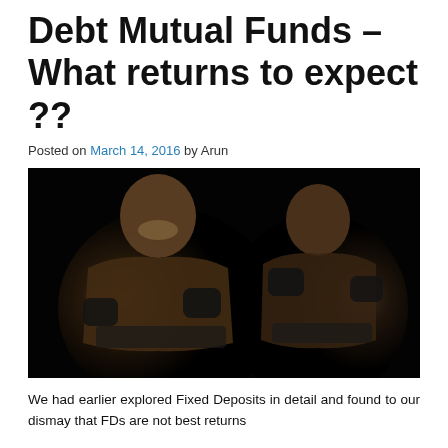Debt Mutual Funds – What returns to expect ??
Posted on March 14, 2016 by Arun
[Figure (photo): Two boxers in fighting stances against a dark background, depicted in a high-contrast dramatic style. The left boxer is smiling and the right boxer is in a defensive stance.]
We had earlier explored Fixed Deposits in detail and found to our dismay that FDs are not best returns...